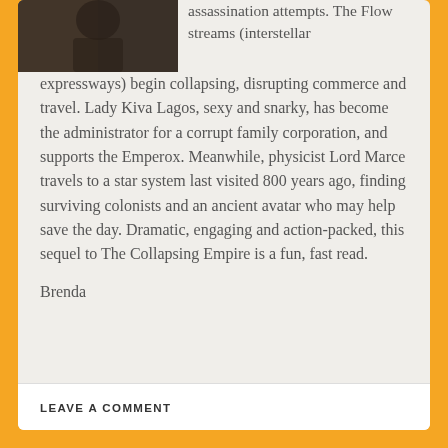[Figure (photo): Partial image of a book cover or author photo at the top left, showing a dark figure against a dark background.]
assassination attempts. The Flow streams (interstellar expressways) begin collapsing, disrupting commerce and travel. Lady Kiva Lagos, sexy and snarky, has become the administrator for a corrupt family corporation, and supports the Emperox. Meanwhile, physicist Lord Marce travels to a star system last visited 800 years ago, finding surviving colonists and an ancient avatar who may help save the day. Dramatic, engaging and action-packed, this sequel to The Collapsing Empire is a fun, fast read.
Brenda
LEAVE A COMMENT